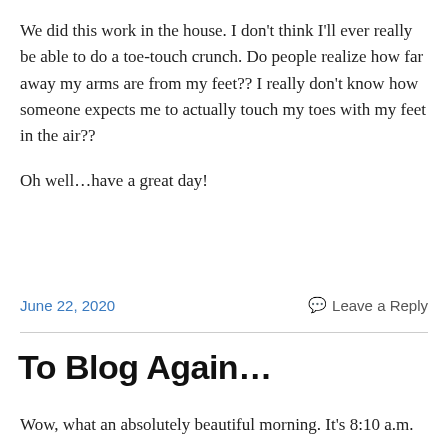We did this work in the house. I don't think I'll ever really be able to do a toe-touch crunch. Do people realize how far away my arms are from my feet?? I really don't know how someone expects me to actually touch my toes with my feet in the air??
Oh well…have a great day!
June 22, 2020   Leave a Reply
To Blog Again…
Wow, what an absolutely beautiful morning. It's 8:10 a.m.